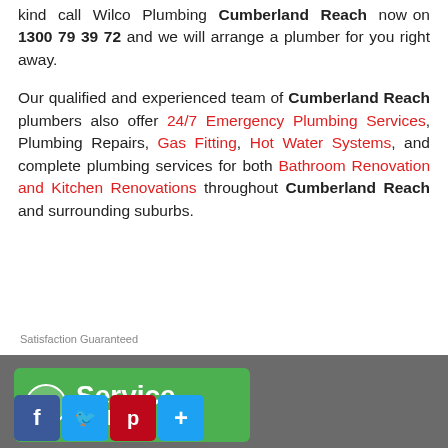kind call Wilco Plumbing Cumberland Reach now on 1300 79 39 72 and we will arrange a plumber for you right away.
Our qualified and experienced team of Cumberland Reach plumbers also offer 24/7 Emergency Plumbing Services, Plumbing Repairs, Gas Fitting, Hot Water Systems, and complete plumbing services for both Bathroom Renovation and Kitchen Renovations throughout Cumberland Reach and surrounding suburbs.
Satisfaction Guaranteed
[Figure (infographic): Green service call banner with social media icons (Facebook, Twitter, Pinterest, add button) and partial 'Service Call' text visible]